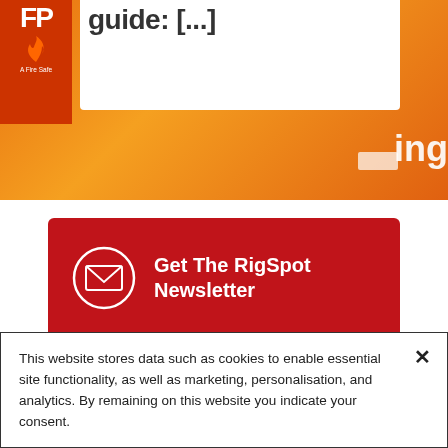[Figure (screenshot): Top orange/red banner of FP fire safety website showing partial heading text 'guide: [...]' and partial word 'ing' on right side, with logo top-left and white content box]
[Figure (infographic): Red rounded rectangle newsletter signup card with envelope icon in circle and bold white text 'Get The RigSpot Newsletter', with a light input bar at the bottom]
This website stores data such as cookies to enable essential site functionality, as well as marketing, personalisation, and analytics. By remaining on this website you indicate your consent.